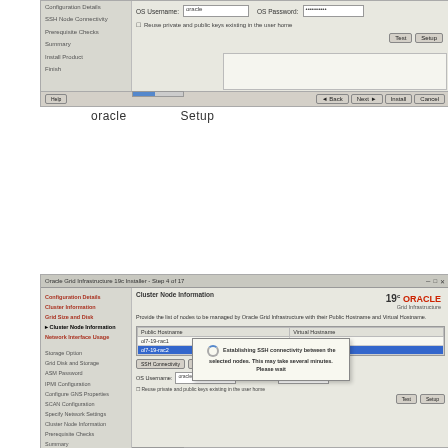[Figure (screenshot): Oracle Grid Infrastructure 19c Installer screenshot showing OS Username 'oracle' and OS Password fields, with Test and Setup buttons, partial view of installer wizard]
oracleユーザーでSetupボタンを
[Figure (screenshot): Oracle Grid Infrastructure 19c Installer - Step 4 of 17, Cluster Node Information screen showing table with Public Hostname and Virtual Hostname columns, two nodes listed, with SSH connectivity dialog overlay saying 'Establishing SSH connectivity between the selected nodes. This may take several minutes. Please wait']
[Figure (screenshot): Oracle Grid Infrastructure 19c Installer - Step 4 of 17, Cluster Node Information screen partial view showing bottom portion with Configuration Details sidebar item]